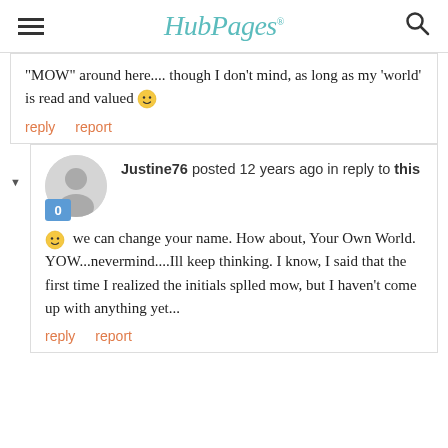HubPages
"MOW" around here.... though I don't mind, as long as my 'world' is read and valued 🙂
reply   report
Justine76 posted 12 years ago in reply to this
🙂 we can change your name. How about, Your Own World. YOW...nevermind....Ill keep thinking. I know, I said that the first time I realized the initials splled mow, but I haven't come up with anything yet...
reply   report